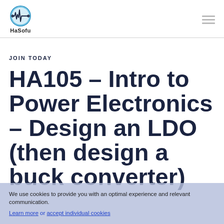[Figure (logo): HaSofu logo: circular icon with circuit/ECG waveform design in blue, with text 'HaSofu' below]
JOIN TODAY
HA105 – Intro to Power Electronics – Design an LDO (then design a buck converter)
We use cookies to provide you with an optimal experience and relevant communication. Learn more or accept individual cookies